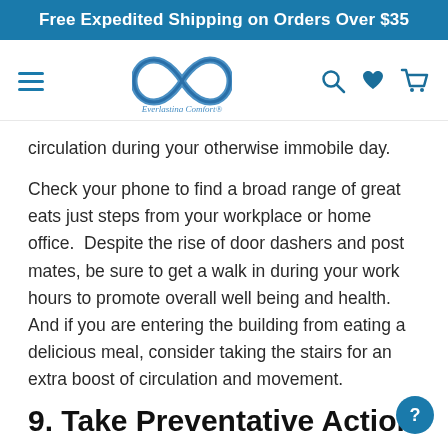Free Expedited Shipping on Orders Over $35
[Figure (logo): Everlasting Comfort logo with infinity symbol and navigation bar with hamburger menu, search, heart, and cart icons]
circulation during your otherwise immobile day.
Check your phone to find a broad range of great eats just steps from your workplace or home office.  Despite the rise of door dashers and post mates, be sure to get a walk in during your work hours to promote overall well being and health. And if you are entering the building from eating a delicious meal, consider taking the stairs for an extra boost of circulation and movement.
9. Take Preventative Action